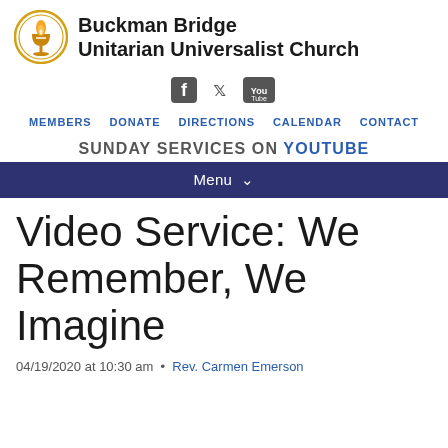[Figure (logo): Buckman Bridge Unitarian Universalist Church logo: circular emblem with a chalice and flame in gold/yellow, with circular border]
Buckman Bridge Unitarian Universalist Church
[Figure (infographic): Social media icons: Facebook, Twitter, YouTube]
MEMBERS   DONATE   DIRECTIONS   CALENDAR   CONTACT
SUNDAY SERVICES ON YOUTUBE
Menu
Video Service: We Remember, We Imagine
04/19/2020 at 10:30 am  •  Rev. Carmen Emerson